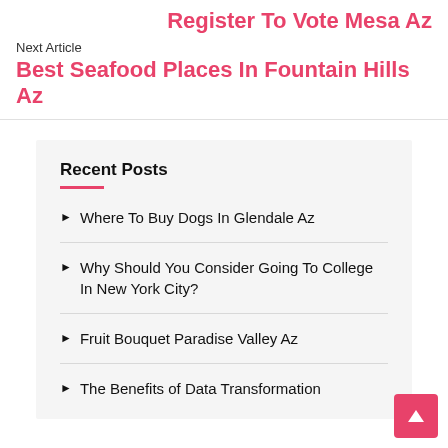Register To Vote Mesa Az
Next Article
Best Seafood Places In Fountain Hills Az
Recent Posts
Where To Buy Dogs In Glendale Az
Why Should You Consider Going To College In New York City?
Fruit Bouquet Paradise Valley Az
The Benefits of Data Transformation